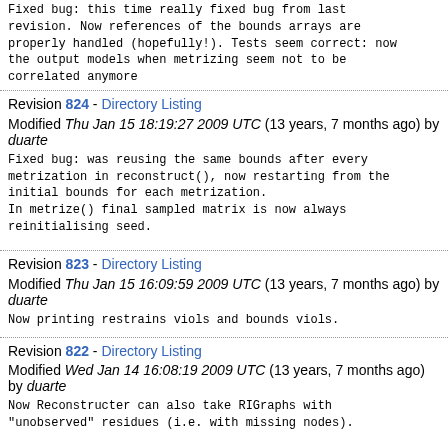Fixed bug: this time really fixed bug from last revision. Now references of the bounds arrays are properly handled (hopefully!). Tests seem correct: now the output models when metrizing seem not to be correlated anymore
Revision 824 - Directory Listing
Modified Thu Jan 15 18:19:27 2009 UTC (13 years, 7 months ago) by duarte
Fixed bug: was reusing the same bounds after every metrization in reconstruct(), now restarting from the initial bounds for each metrization.
In metrize() final sampled matrix is now always reinitialising seed.
Revision 823 - Directory Listing
Modified Thu Jan 15 16:09:59 2009 UTC (13 years, 7 months ago) by duarte
Now printing restrains viols and bounds viols.
Revision 822 - Directory Listing
Modified Wed Jan 14 16:08:19 2009 UTC (13 years, 7 months ago) by duarte
Now Reconstructer can also take RIGraphs with "unobserved" residues (i.e. with missing nodes).